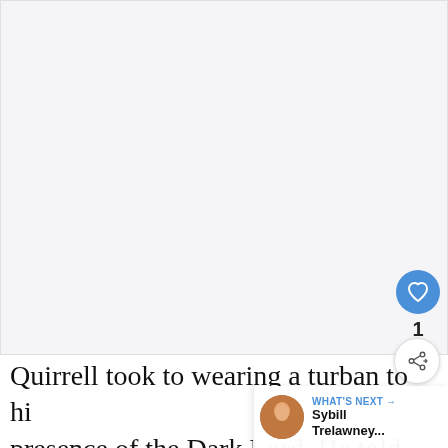[Figure (photo): Large light gray image placeholder area occupying the top portion of the page]
Quirrell took to wearing a turban to hide the presence of the Dark Lord. He told his fellow teachers that it was a present from an African